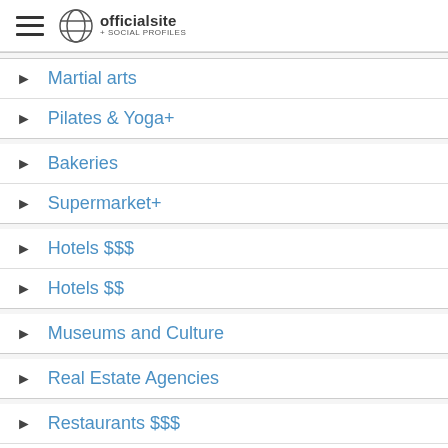officialsite + SOCIAL PROFILES
Martial arts
Pilates & Yoga+
Bakeries
Supermarket+
Hotels $$$
Hotels $$
Museums and Culture
Real Estate Agencies
Restaurants $$$
Restaurants $$
Restaurants $
Clothing